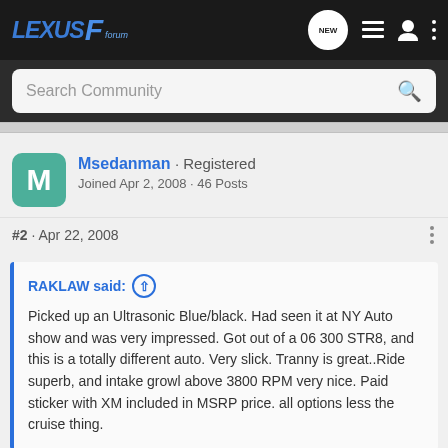Lexus F Forum
Search Community
Msedanman · Registered
Joined Apr 2, 2008 · 46 Posts
#2 · Apr 22, 2008
RAKLAW said: ↑
Picked up an Ultrasonic Blue/black. Had seen it at NY Auto show and was very impressed. Got out of a 06 300 STR8, and this is a totally different auto. Very slick. Tranny is great..Ride superb, and intake growl above 3800 RPM very nice. Paid sticker with XM included in MSRP price. all options less the cruise thing.
Sweet ride, Raklaw......very impressive....